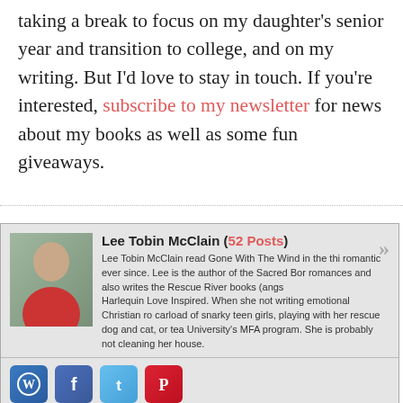taking a break to focus on my daughter's senior year and transition to college, and on my writing. But I'd love to stay in touch. If you're interested, subscribe to my newsletter for news about my books as well as some fun giveaways.
[Figure (other): Author bio box with photo of Lee Tobin McClain, name, post count, bio text, and social media icons for WordPress, Facebook, Twitter, and Pinterest]